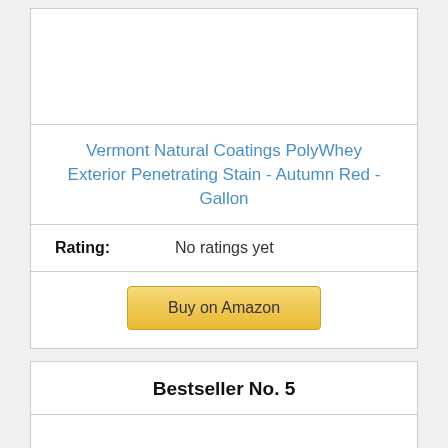[Figure (photo): Product image area for Vermont Natural Coatings PolyWhey Exterior Penetrating Stain]
Vermont Natural Coatings PolyWhey Exterior Penetrating Stain - Autumn Red - Gallon
Rating: No ratings yet
Buy on Amazon
Bestseller No. 5
[Figure (photo): Bestseller No. 5 product image area]